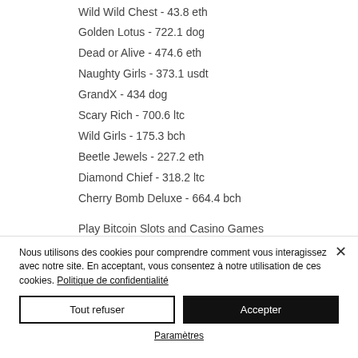Wild Wild Chest - 43.8 eth
Golden Lotus - 722.1 dog
Dead or Alive - 474.6 eth
Naughty Girls - 373.1 usdt
GrandX - 434 dog
Scary Rich - 700.6 ltc
Wild Girls - 175.3 bch
Beetle Jewels - 227.2 eth
Diamond Chief - 318.2 ltc
Cherry Bomb Deluxe - 664.4 bch
Play Bitcoin Slots and Casino Games
Nous utilisons des cookies pour comprendre comment vous interagissez avec notre site. En acceptant, vous consentez à notre utilisation de ces cookies. Politique de confidentialité
Tout refuser
Accepter
Paramètres